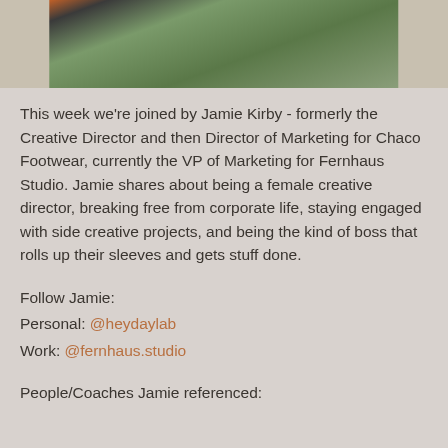[Figure (photo): Partial photo of a person wearing a green jacket with orange/autumn foliage visible in the background, cropped at the top of the page]
This week we're joined by Jamie Kirby - formerly the Creative Director and then Director of Marketing for Chaco Footwear, currently the VP of Marketing for Fernhaus Studio. Jamie shares about being a female creative director, breaking free from corporate life, staying engaged with side creative projects, and being the kind of boss that rolls up their sleeves and gets stuff done.
Follow Jamie:
Personal: @heydaylab
Work: @fernhaus.studio
People/Coaches Jamie referenced: